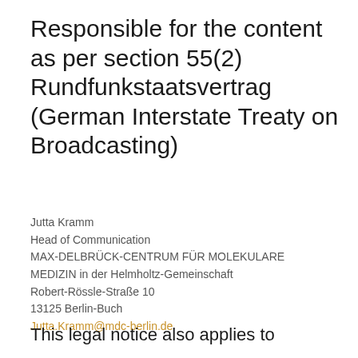Responsible for the content as per section 55(2) Rundfunkstaatsvertrag (German Interstate Treaty on Broadcasting)
Jutta Kramm
Head of Communication
MAX-DELBRÜCK-CENTRUM FÜR MOLEKULARE MEDIZIN in der Helmholtz-Gemeinschaft
Robert-Rössle-Straße 10
13125 Berlin-Buch
Jutta.Kramm@mdc-berlin.de
This legal notice also applies to